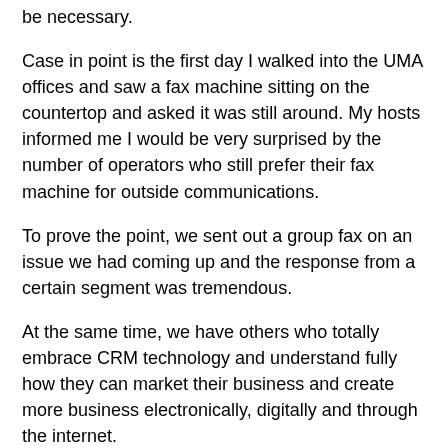be necessary.
Case in point is the first day I walked into the UMA offices and saw a fax machine sitting on the countertop and asked it was still around. My hosts informed me I would be very surprised by the number of operators who still prefer their fax machine for outside communications.
To prove the point, we sent out a group fax on an issue we had coming up and the response from a certain segment was tremendous.
At the same time, we have others who totally embrace CRM technology and understand fully how they can market their business and create more business electronically, digitally and through the internet.
While it is good that these people are rooted in the history of this business, there are those who might not be as willing to